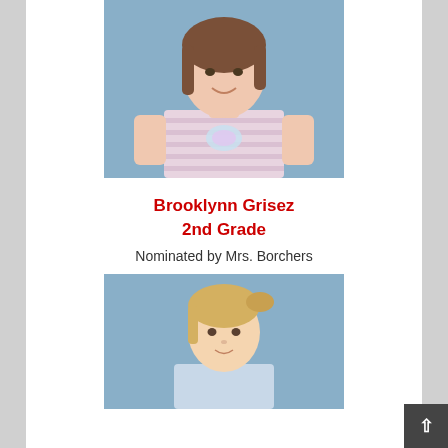[Figure (photo): School portrait photo of a young girl with brown hair wearing a pink and white striped shirt with a sequined butterfly, against a blue background]
Brooklynn Grisez
2nd Grade
Nominated by Mrs. Borchers
[Figure (photo): School portrait photo of a young girl with blonde hair in a ponytail, against a blue background]